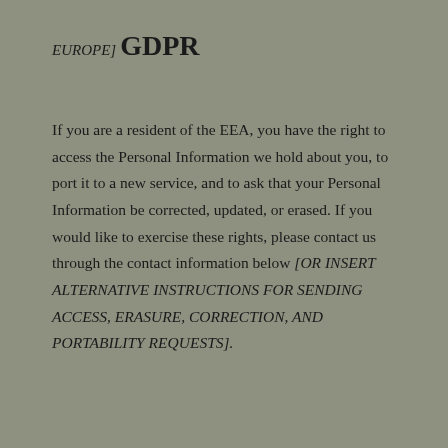EUROPE]
GDPR
If you are a resident of the EEA, you have the right to access the Personal Information we hold about you, to port it to a new service, and to ask that your Personal Information be corrected, updated, or erased. If you would like to exercise these rights, please contact us through the contact information below [OR INSERT ALTERNATIVE INSTRUCTIONS FOR SENDING ACCESS, ERASURE, CORRECTION, AND PORTABILITY REQUESTS].